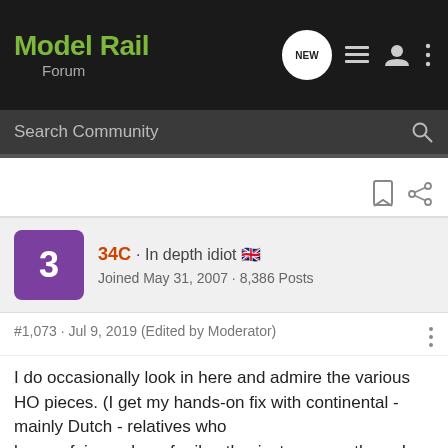ModelRail Forum
Search Community
34C · In depth idiot 🇬🇧
Joined May 31, 2007 · 8,386 Posts
#1,073 · Jul 9, 2019 (Edited by Moderator)
I do occasionally look in here and admire the various HO pieces. (I get my hands-on fix with continental - mainly Dutch - relatives who have a fair number of rail enthusiasts among them. In one cousin's home we sit on old locomotive buffers as stools from which to